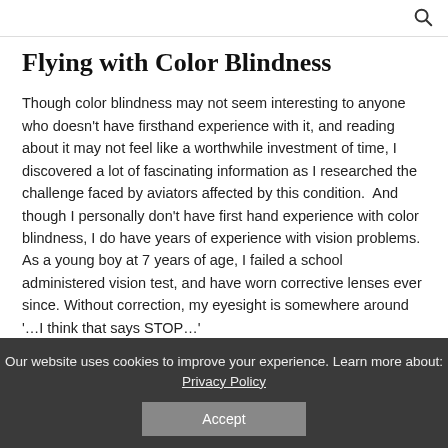Flying with Color Blindness
Though color blindness may not seem interesting to anyone who doesn’t have firsthand experience with it, and reading about it may not feel like a worthwhile investment of time, I discovered a lot of fascinating information as I researched the challenge faced by aviators affected by this condition.  And though I personally don’t have first hand experience with color blindness, I do have years of experience with vision problems.  As a young boy at 7 years of age, I failed a school administered vision test, and have worn corrective lenses ever since. Without correction, my eyesight is somewhere around ‘…I think that says STOP…’
Our website uses cookies to improve your experience. Learn more about: Privacy Policy
Accept